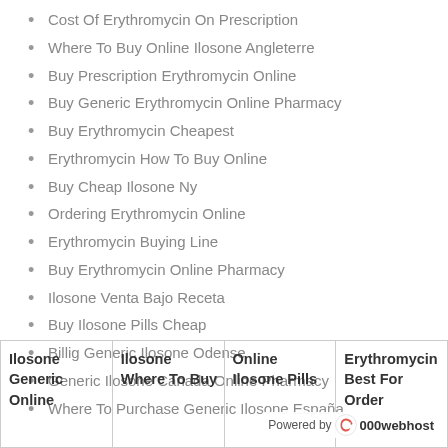Cost Of Erythromycin On Prescription
Where To Buy Online Ilosone Angleterre
Buy Prescription Erythromycin Online
Buy Generic Erythromycin Online Pharmacy
Buy Erythromycin Cheapest
Erythromycin How To Buy Online
Buy Cheap Ilosone Ny
Ordering Erythromycin Online
Erythromycin Buying Line
Buy Erythromycin Online Pharmacy
Ilosone Venta Bajo Receta
Buy Ilosone Pills Cheap
Billig Generic Ilosone Odense
Generic Ilosone Canada Online Pharmacy
Where To Purchase Generic Ilosone España
| Ilosone Generic Online | Ilosone Where To Buy | Online Ilosone Pills | Erythromycin Best For Order |
| --- | --- | --- | --- |